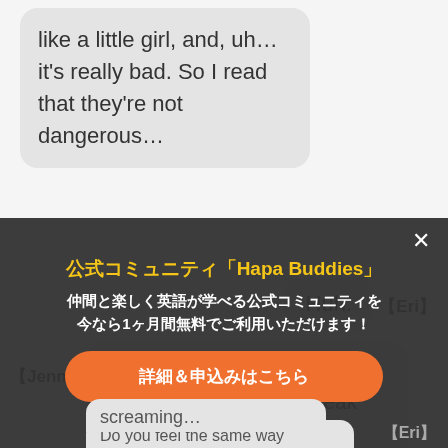like a little girl, and, uh… it's really bad. So I read that they're not dangerous…
【Eri】
Huh.
【Jenny】
…like actual centipedes, but every time I see one I freak out, and I feel like I set the women's … come… ba… a co…le of decades by my reaction screaming…
公式コミュニティ「Hapa Buddies」
仲間と楽しく英語が学べる公式コミュニティを 今なら1ヶ月間無料でご利用いただけます！
詳細＆申込みはこちら
Do you feel the same way
【Eri】